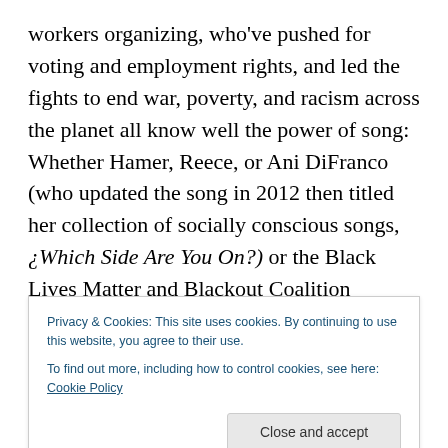workers organizing, who've pushed for voting and employment rights, and led the fights to end war, poverty, and racism across the planet all know well the power of song: Whether Hamer, Reece, or Ani DiFranco (who updated the song in 2012 then titled her collection of socially conscious songs, ¿Which Side Are You On?) or the Black Lives Matter and Blackout Coalition organizers, women are allied in a long and storied legacy of traditional and gospel song.  With songs we have contributed to toppling apartheid in South Africa, had voting rights granted in the US, fought warlords in Liberia and begun to
Privacy & Cookies: This site uses cookies. By continuing to use this website, you agree to their use.
To find out more, including how to control cookies, see here: Cookie Policy
comeback. Now, which side are you on?